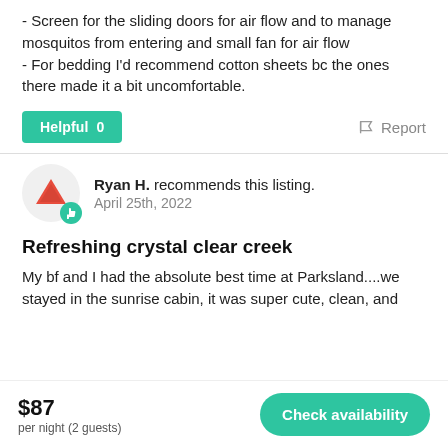- Screen for the sliding doors for air flow and to manage mosquitos from entering and small fan for air flow
- For bedding I'd recommend cotton sheets bc the ones there made it a bit uncomfortable.
Helpful  0
Report
Ryan H. recommends this listing.
April 25th, 2022
Refreshing crystal clear creek
My bf and I had the absolute best time at Parksland....we stayed in the sunrise cabin, it was super cute, clean, and
$87
per night (2 guests)
Check availability